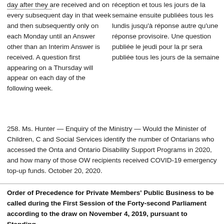day after they are received and on every subsequent day in that week and then subsequently only on each Monday until an Answer other than an Interim Answer is received. A question first appearing on a Thursday will appear on each day of the following week.
réception et tous les jours de la semaine ensuite publiées tous les lundis jusqu'à réponse autre qu'une réponse provisoire. Une question publiée le jeudi pour la pr sera publiée tous les jours de la semaine
258. Ms. Hunter — Enquiry of the Ministry — Would the Minister of Children, C and Social Services identify the number of Ontarians who accessed the Onta and Ontario Disability Support Programs in 2020, and how many of those OW recipients received COVID-19 emergency top-up funds. October 20, 2020.
Order of Precedence for Private Members' Public Business to be called during the First Session of the Forty-second Parliament according to the draw on November 4, 2019, pursuant to Standing